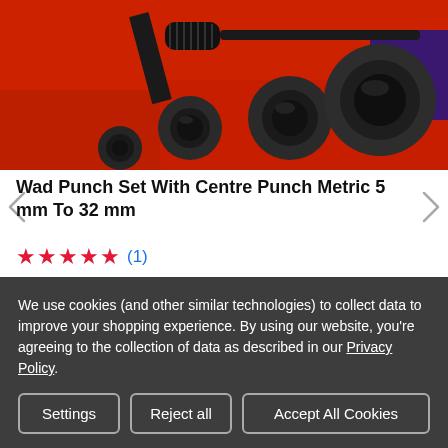[Figure (photo): A wad punch set with centre punch displayed in a red tool case. Multiple black cylindrical punch tools of varying sizes are shown, along with a punch handle/driver. The tools are arranged in red foam holders.]
Wad Punch Set With Centre Punch Metric 5 mm To 32 mm
★★★★★ (1)
We use cookies (and other similar technologies) to collect data to improve your shopping experience. By using our website, you're agreeing to the collection of data as described in our Privacy Policy.
Settings
Reject all
Accept All Cookies